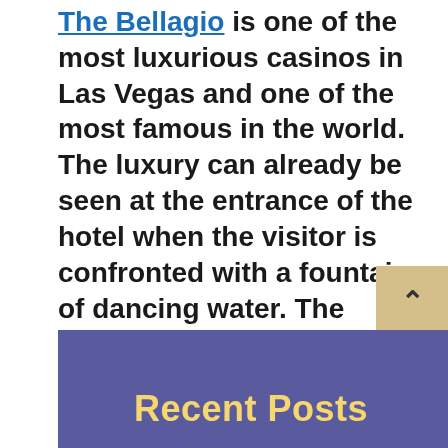The Bellagio is one of the most luxurious casinos in Las Vegas and one of the most famous in the world. The luxury can already be seen at the entrance of the hotel when the visitor is confronted with a fountain of dancing water. The casino has 400 slot machines and a sports center with 99 monitors broadcasting the events with classic architecture. Certainly a paradise for professional gamblers and tourists who have never been in a gaming room.
Recent Posts